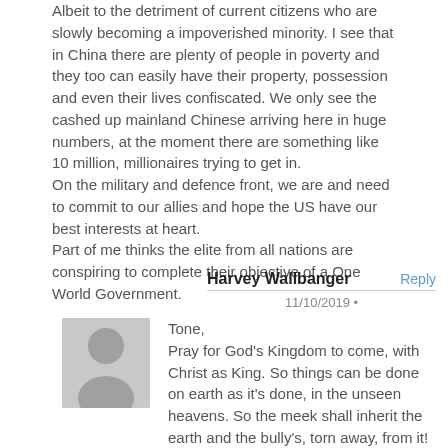Albeit to the detriment of current citizens who are slowly becoming a impoverished minority. I see that in China there are plenty of people in poverty and they too can easily have their property, possession and even their lives confiscated. We only see the cashed up mainland Chinese arriving here in huge numbers, at the moment there are something like 10 million, millionaires trying to get in.
On the military and defence front, we are and need to commit to our allies and hope the US have our best interests at heart.
Part of me thinks the elite from all nations are conspiring to complete their objective of a One World Government.
Harvey Wallbanger
11/10/2019 •
Tone,
Pray for God's Kingdom to come, with Christ as King. So things can be done on earth as it's done, in the unseen heavens. So the meek shall inherit the earth and the bully's, torn away, from it! Sounds like a rapture to me, except you don't want to be in it! LOL!